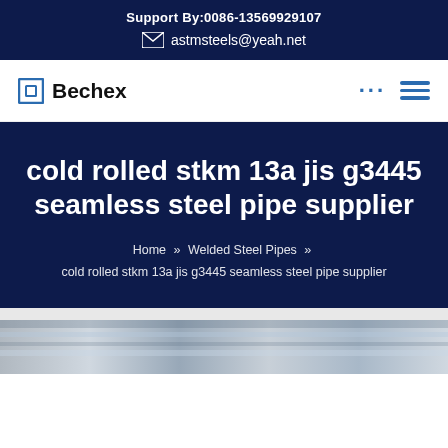Support By:0086-13569929107
astmsteels@yeah.net
Bechex
cold rolled stkm 13a jis g3445 seamless steel pipe supplier
Home » Welded Steel Pipes » cold rolled stkm 13a jis g3445 seamless steel pipe supplier
[Figure (photo): Bottom strip of a steel pipe product image, partially visible]